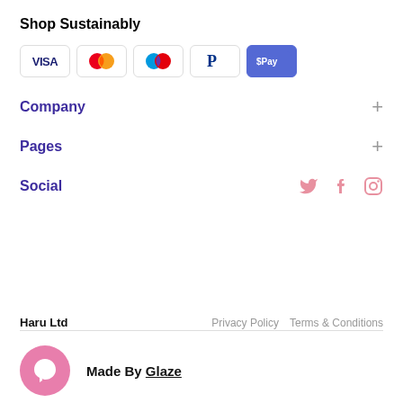Shop Sustainably
[Figure (logo): Payment method icons: VISA, Mastercard, Maestro, PayPal, Apple Pay]
Company
Pages
Social
Haru Ltd   Privacy Policy   Terms & Conditions
Made By Glaze